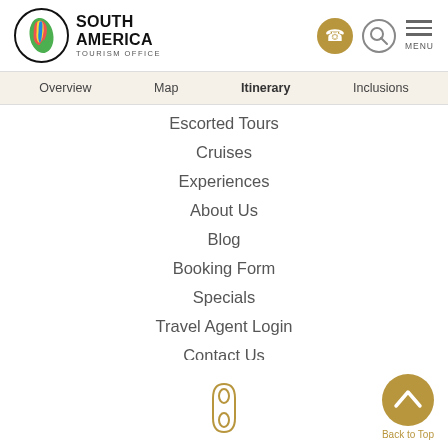[Figure (logo): South America Tourism Office logo with colorful South America continent map inside a circle, with bold text SOUTH AMERICA TOURISM OFFICE]
Overview  Map  Itinerary  Inclusions
Escorted Tours
Cruises
Experiences
About Us
Blog
Booking Form
Specials
Travel Agent Login
Contact Us
Customer feedback
[Figure (illustration): Gold/tan telephone handset icon at bottom center]
Back to Top